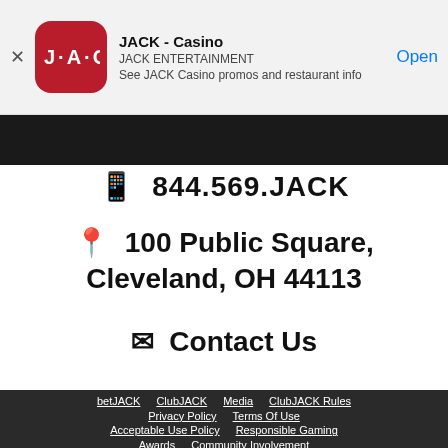[Figure (screenshot): JACK Casino app banner with red rounded-square icon, app title 'JACK - Casino', publisher 'JACK ENTERTAINMENT', description 'See JACK Casino promos and restaurant info', and blue 'Open' button]
844.569.JACK
100 Public Square, Cleveland, OH 44113
Contact Us
betJACK   ClubJACK   Media   ClubJACK Rules   Privacy Policy   Terms Of Use   Acceptable Use Policy   Responsible Gaming   Awards   Community Involvement